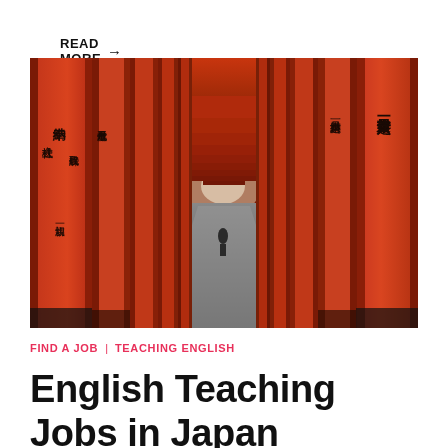READ MORE →
[Figure (photo): Tunnel of red torii gates at Fushimi Inari shrine in Japan, with Japanese kanji inscriptions on the pillars, pathway visible through the center.]
FIND A JOB | TEACHING ENGLISH
English Teaching Jobs in Japan